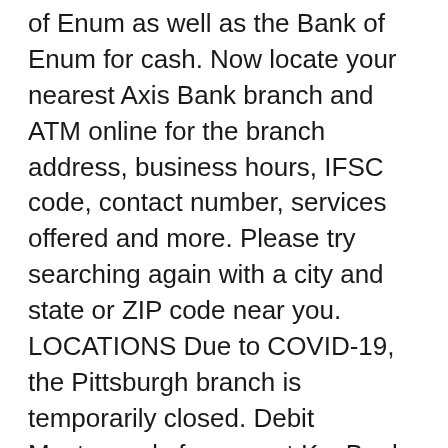of Enum as well as the Bank of Enum for cash. Now locate your nearest Axis Bank branch and ATM online for the branch address, business hours, IFSC code, contact number, services offered and more. Please try searching again with a city and state or ZIP code near you. LOCATIONS Due to COVID-19, the Pittsburgh branch is temporarily closed. Debit Mastercards from most KeyBank personal checking accounts (except the Hassle-Free Account®) can be used surcharge-free at any Allpoint ATM. Get cash quick in any state – without a surcharge. 2. Use our locator to find a branch near you for available hours, available services, and more. Check on your latest branch status below. Being a part of building businesses, starting families and dreaming up your next big idea. 5700 Cleveland Street Virginia Beach, VA, 23462; Toll Free (800) 678-8765; Routing Number: 251481614 Find a smarter way to pay your bills in person. , so you have access to over 55,000 ATMs around the world. If you do not have the branch, please update all and